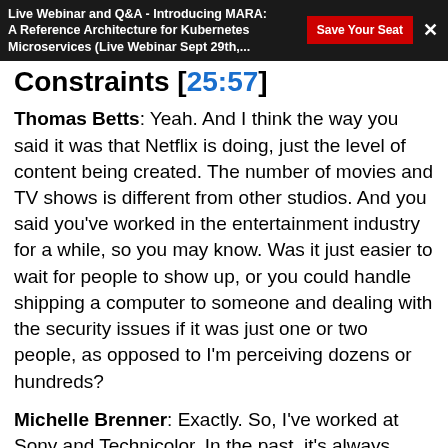Live Webinar and Q&A - Introducing MARA: A Reference Architecture for Kubernetes Microservices (Live Webinar Sept 29th,...  Save Your Seat  ×
Constraints [25:57]
Thomas Betts: Yeah. And I think the way you said it was that Netflix is doing, just the level of content being created. The number of movies and TV shows is different from other studios. And you said you've worked in the entertainment industry for a while, so you may know. Was it just easier to wait for people to show up, or you could handle shipping a computer to someone and dealing with the security issues if it was just one or two people, as opposed to I'm perceiving dozens or hundreds?
Michelle Brenner: Exactly. So, I've worked at Sony and Technicolor. In the past, it's always been only a few projects at a time. And most of it is in studio,